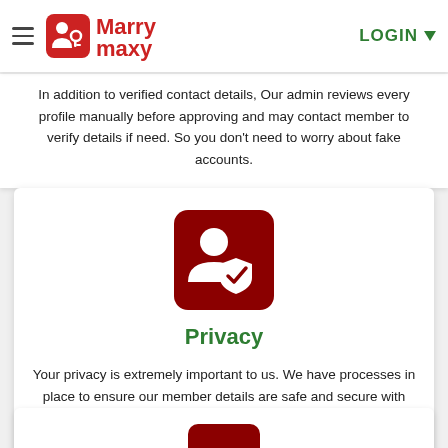MarryMaxy — hamburger menu, logo, LOGIN
In addition to verified contact details, Our admin reviews every profile manually before approving and may contact member to verify details if need. So you don't need to worry about fake accounts.
[Figure (illustration): Dark red rounded square icon showing a person silhouette with a shield badge (privacy / user-protection icon)]
Privacy
Your privacy is extremely important to us. We have processes in place to ensure our member details are safe and secure with us. Our members have complete control through the account privacy setting options.